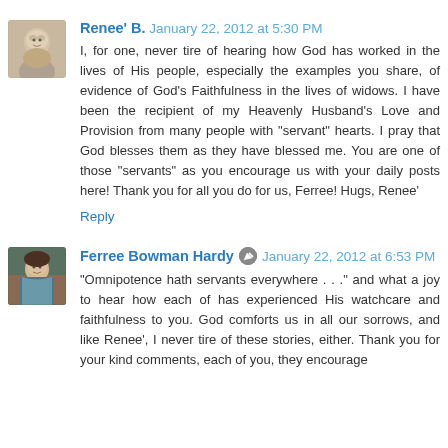[Figure (photo): Avatar photo of Renee B., older woman with light hair]
Renee' B.  January 22, 2012 at 5:30 PM
I, for one, never tire of hearing how God has worked in the lives of His people, especially the examples you share, of evidence of God's Faithfulness in the lives of widows. I have been the recipient of my Heavenly Husband's Love and Provision from many people with "servant" hearts. I pray that God blesses them as they have blessed me. You are one of those "servants" as you encourage us with your daily posts here! Thank you for all you do for us, Ferree! Hugs, Renee'
Reply
[Figure (photo): Avatar photo of Ferree Bowman Hardy, woman with dark hair and colorful top]
Ferree Bowman Hardy  January 22, 2012 at 6:53 PM
"Omnipotence hath servants everywhere . . ." and what a joy to hear how each of has experienced His watchcare and faithfulness to you. God comforts us in all our sorrows, and like Renee', I never tire of these stories, either. Thank you for your kind comments, each of you, they encourage